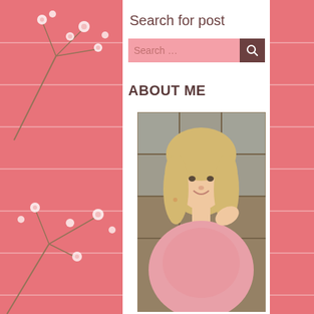Search for post
Search ...
ABOUT ME
[Figure (photo): Portrait photograph of a middle-aged woman with shoulder-length blonde hair, wearing a pink knit sweater, smiling at camera, with a wooden screen/partition behind her.]